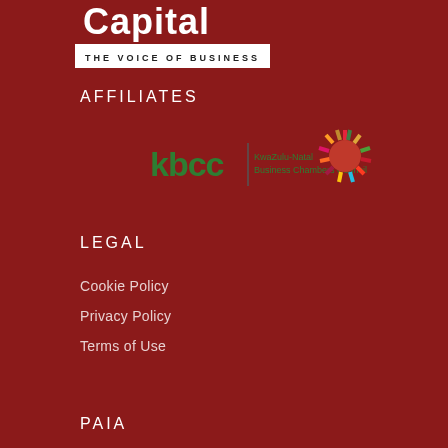[Figure (logo): Capital - The Voice of Business logo, white text on dark red background with white tagline bar]
AFFILIATES
[Figure (logo): KBCC KwaZulu-Natal Business Chambers Council logo with colorful circular SDG wheel icon]
LEGAL
Cookie Policy
Privacy Policy
Terms of Use
PAIA